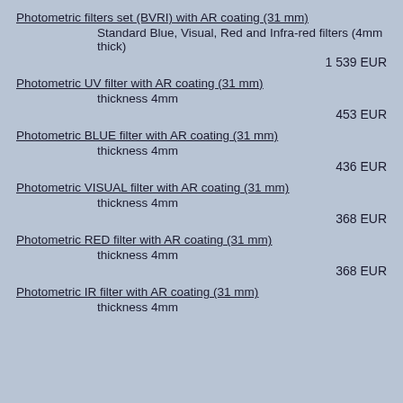Photometric filters set (BVRI) with AR coating (31 mm)
Standard Blue, Visual, Red and Infra-red filters (4mm thick)
1 539 EUR
Photometric UV filter with AR coating (31 mm)
thickness 4mm
453 EUR
Photometric BLUE filter with AR coating (31 mm)
thickness 4mm
436 EUR
Photometric VISUAL filter with AR coating (31 mm)
thickness 4mm
368 EUR
Photometric RED filter with AR coating (31 mm)
thickness 4mm
368 EUR
Photometric IR filter with AR coating (31 mm)
thickness 4mm